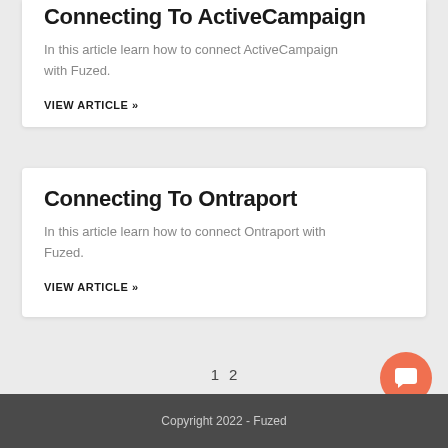Connecting To ActiveCampaign
In this article learn how to connect ActiveCampaign with Fuzed.
VIEW ARTICLE »
Connecting To Ontraport
In this article learn how to connect Ontraport with Fuzed.
VIEW ARTICLE »
1   2
Copyright 2022 - Fuzed